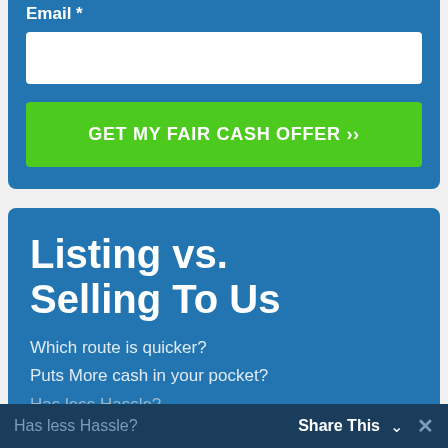Email *
[Figure (screenshot): White empty email input field]
GET MY FAIR CASH OFFER ››
Listing vs. Selling To Us
Which route is quicker?
Puts More cash in your pocket?
Has less Hassle?
Share This ∨   ✕